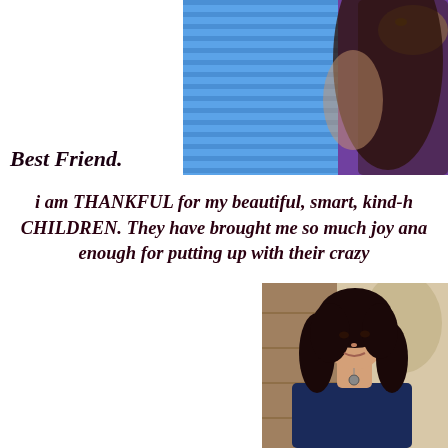[Figure (photo): Photo of two people, one wearing a blue striped shirt and one wearing a purple top, cropped at top of page]
Best Friend.
I am THANKFUL for my beautiful, smart, kind-h CHILDREN.  They have brought me so much joy ana enough for putting up with their crazy
[Figure (photo): Photo of a young woman with long dark curly hair leaning against a wooden post, wearing a dark blue jacket with a necklace]